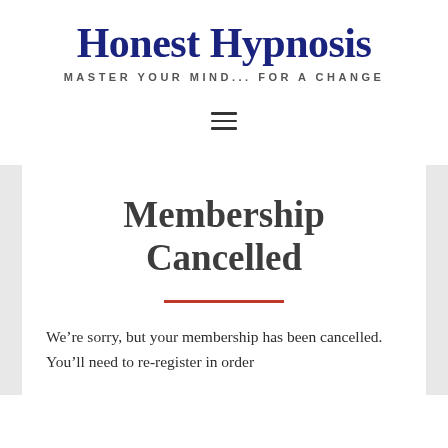Honest Hypnosis
MASTER YOUR MIND... FOR A CHANGE
[Figure (other): Hamburger menu icon with three horizontal lines]
Membership Cancelled
We’re sorry, but your membership has been cancelled. You’ll need to re-register in order